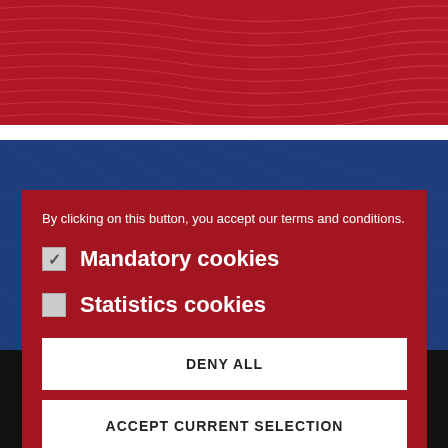[Figure (screenshot): Website cookie consent modal overlay on top of a website with red wavy background at top, dark blue patterned area in middle, and black footer. The modal is a dark red/crimson box containing cookie consent options and buttons.]
By clicking on this button, you accept our terms and conditions.
Mandatory cookies (checked)
Statistics cookies (unchecked)
DENY ALL
ACCEPT CURRENT SELECTION
ACCEPT ALL
[Figure (logo): Sonore brand logo with circular wave icon and 'Sonore' text in white italic]